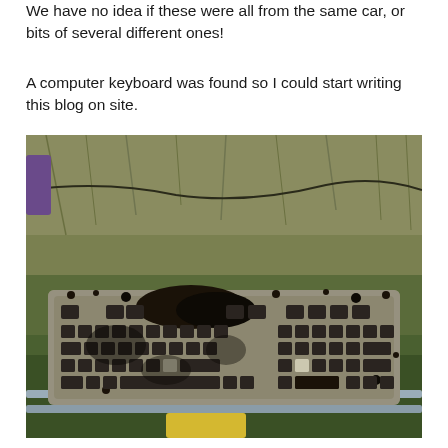We have no idea if these were all from the same car, or bits of several different ones!
A computer keyboard was found so I could start writing this blog on site.
[Figure (photo): A heavily corroded and dirt-encrusted old computer keyboard resting on a metal railing, surrounded by dry grass and vegetation in the background.]